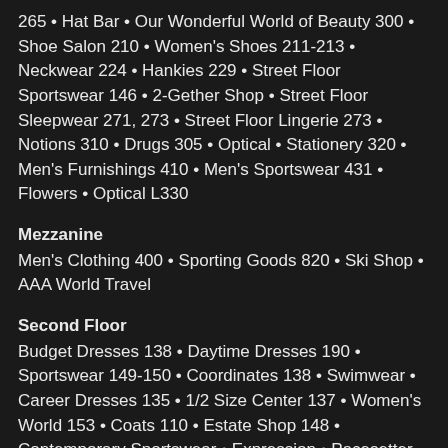265 • Hat Bar • Our Wonderful World of Beauty 300 • Shoe Salon 210 • Women's Shoes 211-213 • Neckwear 224 • Hankies 229 • Street Floor Sportswear 146 • 2-Gether Shop • Street Floor Sleepwear 271, 273 • Street Floor Lingerie 273 • Notions 310 • Drugs 305 • Optical • Stationery 320 • Men's Furnishings 410 • Men's Sportswear 431 • Flowers • Optical L330
Mezzanine
Men's Clothing 400 • Sporting Goods 820 • Ski Shop • AAA World Travel
Second Floor
Budget Dresses 138 • Daytime Dresses 190 • Sportswear 149-150 • Coordinates 138 • Swimwear • Career Dresses 135 • 1/2 Size Center 137 • Women's World 153 • Coats 110 • Estate Shop 148 • Contemporary Sportswear • Expression • Pacesetter Shop • Fur Salon • Junior Dresses 165-166 • Young Juniors 171 • Innovations • Millinery • Body Fashions • Lingerie 275 • Beauty Shop • Children's Shoes 220 •